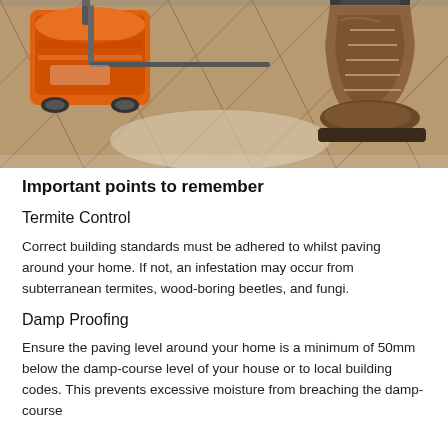[Figure (photo): A photo showing an orange floor grinding/sanding machine on a tiled floor next to a worker's boot (brown leather work boot). The tiles appear to be terracotta/stone style paving. The machine is a large industrial floor grinder.]
Important points to remember
Termite Control
Correct building standards must be adhered to whilst paving around your home. If not, an infestation may occur from subterranean termites, wood-boring beetles, and fungi.
Damp Proofing
Ensure the paving level around your home is a minimum of 50mm below the damp-course level of your house or to local building codes. This prevents excessive moisture from breaching the damp-course.